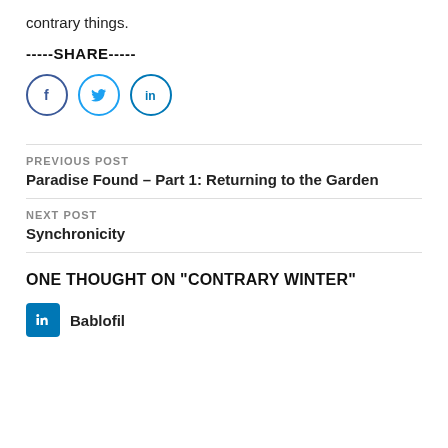contrary things.
-----SHARE-----
[Figure (other): Social media share icons: Facebook (f), Twitter (bird), LinkedIn (in) — circular outlined buttons]
PREVIOUS POST
Paradise Found – Part 1: Returning to the Garden
NEXT POST
Synchronicity
ONE THOUGHT ON “CONTRARY WINTER”
Bablofil